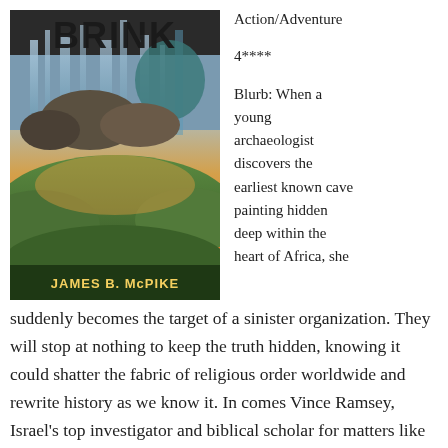[Figure (illustration): Book cover for 'BRINK' by James B. McPike showing waterfalls, rocky terrain, dramatic landscape with orange sunset sky and green hills, with the title BRINK in large dark letters at top and author name JAMES B. McPIKE at bottom.]
Action/Adventure
4****
Blurb: When a young archaeologist discovers the earliest known cave painting hidden deep within the heart of Africa, she suddenly becomes the target of a sinister organization. They will stop at nothing to keep the truth hidden, knowing it could shatter the fabric of religious order worldwide and rewrite history as we know it. In comes Vince Ramsey, Israel's top investigator and biblical scholar for matters like these. He must not only protect the archaeologist